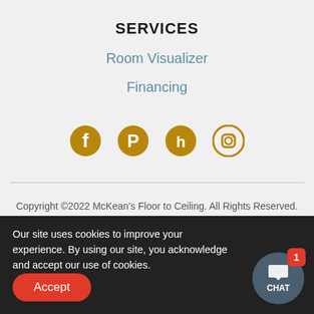SERVICES
Room Visualizer
Financing
[Figure (other): Social media icons: Facebook, Pinterest, Houzz, Instagram — all in golden/yellow color]
Copyright ©2022 McKean's Floor to Ceiling. All Rights Reserved.
Site Map
Our site uses cookies to improve your experience. By using our site, you acknowledge and accept our use of cookies.
Accept